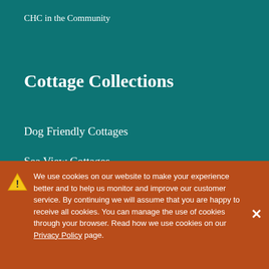CHC in the Community
Cottage Collections
Dog Friendly Cottages
Sea View Cottages
Cottages near the Beach
Romantic Breaks
Cottages for large groups
We use cookies on our website to make your experience better and to help us monitor and improve our customer service. By continuing we will assume that you are happy to receive all cookies. You can manage the use of cookies through your browser. Read how we use cookies on our Privacy Policy page.